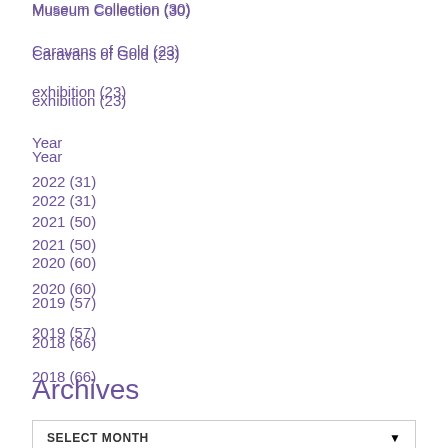Museum Collection (30)
Caravans of Gold (23)
exhibition (23)
Year
2022 (31)
2021 (50)
2020 (60)
2019 (57)
2018 (66)
Archives
SELECT MONTH